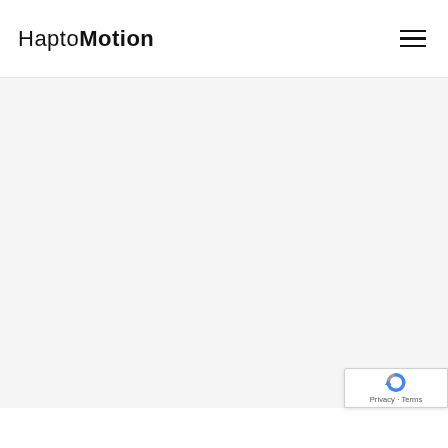HaptoMotion
[Figure (logo): HaptoMotion website header with logo text and hamburger menu icon]
[Figure (other): reCAPTCHA badge with Google reCAPTCHA logo and Privacy - Terms links]